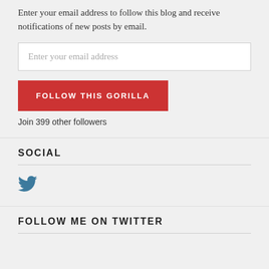Enter your email address to follow this blog and receive notifications of new posts by email.
Enter your email address
FOLLOW THIS GORILLA
Join 399 other followers
SOCIAL
[Figure (illustration): Twitter bird icon in teal/dark blue color]
FOLLOW ME ON TWITTER